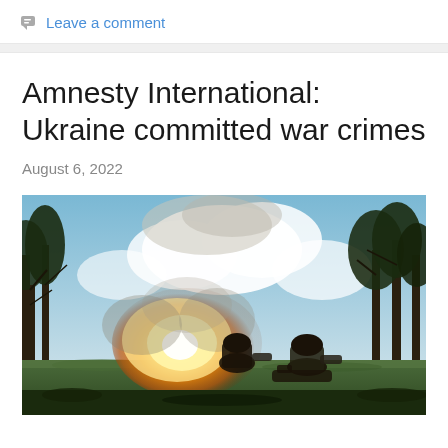Leave a comment
Amnesty International: Ukraine committed war crimes
August 6, 2022
[Figure (photo): Soldiers operating artillery with large muzzle flash/explosion, trees in background against cloudy sky]